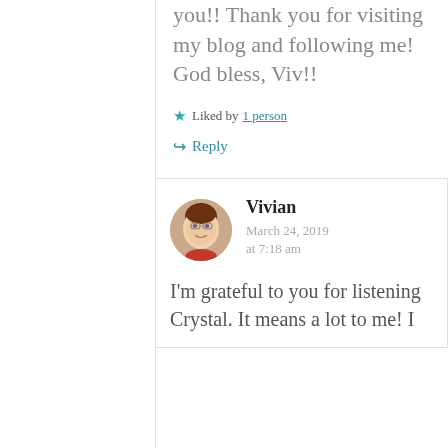you!! Thank you for visiting my blog and following me! God bless, Viv!!
★ Liked by 1 person
↪ Reply
Vivian
March 24, 2019 at 7:18 am
I'm grateful to you for listening Crystal. It means a lot to me! I